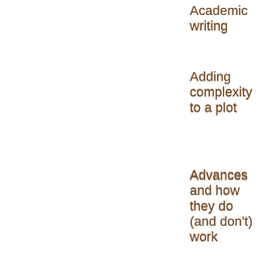Academic writing
Adding complexity to a plot
Advances and how they do (and don't) work
Advances
Is it okay to ask agents at conferences how